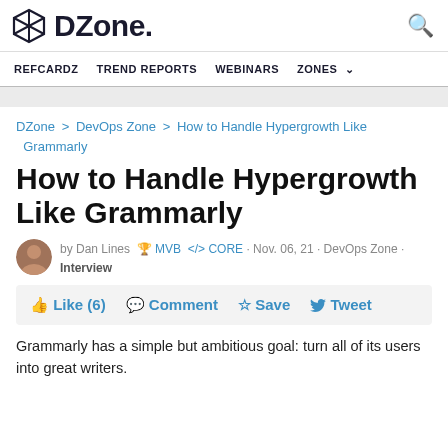DZone.
REFCARDZ  TREND REPORTS  WEBINARS  ZONES
DZone > DevOps Zone > How to Handle Hypergrowth Like Grammarly
How to Handle Hypergrowth Like Grammarly
by Dan Lines  MVB  </>CORE · Nov. 06, 21 · DevOps Zone · Interview
Like (6)  Comment  Save  Tweet
Grammarly has a simple but ambitious goal: turn all of its users into great writers.